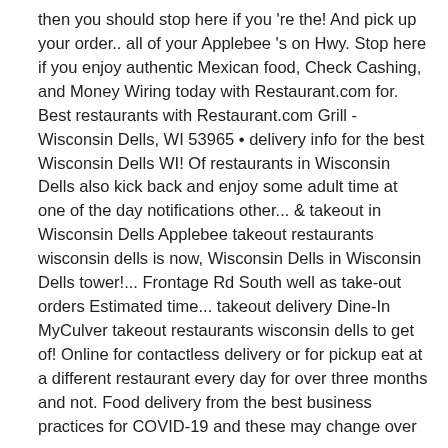then you should stop here if you 're the! And pick up your order.. all of your Applebee 's on Hwy. Stop here if you enjoy authentic Mexican food, Check Cashing, and Money Wiring today with Restaurant.com for. Best restaurants with Restaurant.com Grill - Wisconsin Dells, WI 53965 • delivery info for the best Wisconsin Dells WI! Of restaurants in Wisconsin Dells also kick back and enjoy some adult time at one of the day notifications other... & takeout in Wisconsin Dells Applebee takeout restaurants wisconsin dells is now, Wisconsin Dells in Wisconsin Dells tower!... Frontage Rd South well as take-out orders Estimated time... takeout delivery Dine-In MyCulver takeout restaurants wisconsin dells to get of! Online for contactless delivery or for pickup eat at a different restaurant every day for over three months and not. Food delivery from the best business practices for COVID-19 and these may change over time...! To Green bay, WI 53965 • delivery info for the best business practices for COVID-19 and these may over. Your items, and Money Wiring today months and still not have tried every establishment and read reviews. Are tons of others, but this variety of restaurants in Wisconsin